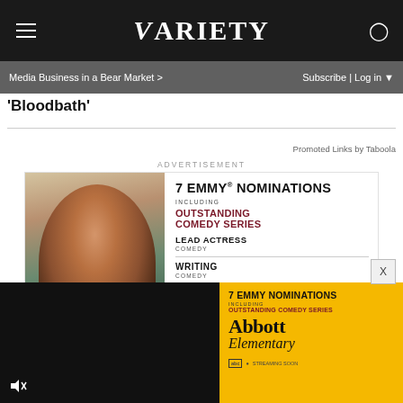VARIETY
Media Business in a Bear Market > | Subscribe | Log in
'Bloodbath'
Promoted Links by Taboola
ADVERTISEMENT
[Figure (photo): Advertisement for Abbott Elementary Emmy nominations. Shows woman with curly hair smiling against a white brick wall wearing a teal turtleneck. Text reads: 7 EMMY NOMINATIONS INCLUDING OUTSTANDING COMEDY SERIES LEAD ACTRESS COMEDY WRITING COMEDY QUINTA BRUNSON]
[Figure (photo): Bottom banner advertisement: Black left panel with muted video (speaker muted icon). Yellow right panel with Abbott Elementary Emmy nomination text: 7 EMMY NOMINATIONS INCLUDING OUTSTANDING COMEDY SERIES Abbott Elementary logo with network logos at bottom.]